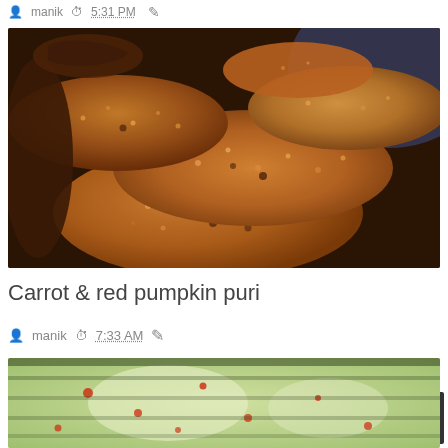manik  5:31 PM  ✏
[Figure (photo): Close-up photo of a pile of round flat fried breads (puri) made with carrot and red pumpkin, showing sesame seeds and a golden-brown to dark brown color.]
Carrot & red pumpkin puri
manik  7:33 AM  ✏
[Figure (photo): Partial view of a pale green and white speckled food item with red spots, likely a second recipe photo.]